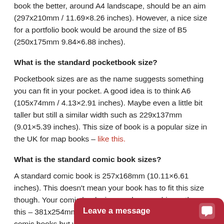book the better, around A4 landscape, should be an aim (297x210mm / 11.69×8.26 inches). However, a nice size for a portfolio book would be around the size of B5 (250x175mm 9.84×6.88 inches).
What is the standard pocketbook size?
Pocketbook sizes are as the name suggests something you can fit in your pocket. A good idea is to think A6 (105x74mm / 4.13×2.91 inches). Maybe even a little bit taller but still a similar width such as 229x137mm (9.01×5.39 inches). This size of book is a popular size in the UK for map books – like this.
What is the standard comic book sizes?
A standard comic book is 257x168mm (10.11×6.61 inches). This doesn't mean your book has to fit this size though. Your comic book size can be even bigger than this – 381x254mm (15×10 inches) is on the larger size of comic books but with a graphic novel this can look amazing.
What are the most commo
As you have probably gues